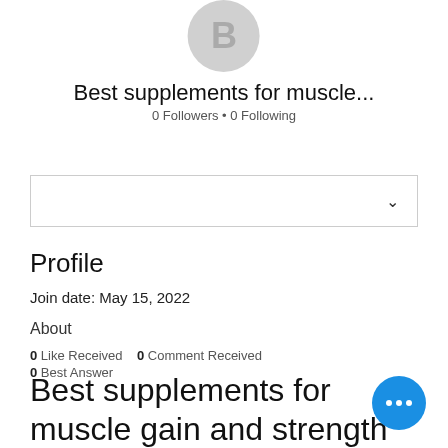[Figure (illustration): Gray circular avatar with letter B]
Best supplements for muscle...
0 Followers • 0 Following
(dropdown box with chevron)
Profile
Join date: May 15, 2022
About
0 Like Received   0 Comment Received
0 Best Answer
Best supplements for muscle gain and strength